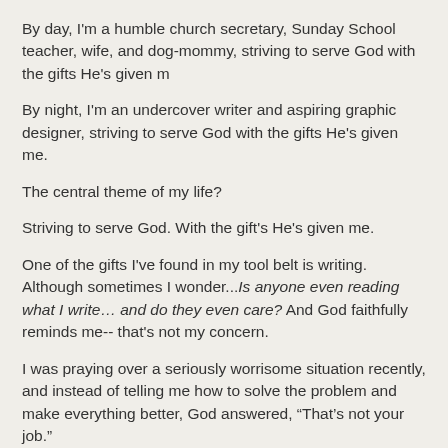By day, I'm a humble church secretary, Sunday School teacher, wife, and dog-mommy, striving to serve God with the gifts He's given m
By night, I'm an undercover writer and aspiring graphic designer, striving to serve God with the gifts He's given me.
The central theme of my life?
Striving to serve God. With the gift's He's given me.
One of the gifts I've found in my tool belt is writing. Although sometimes I wonder...Is anyone even reading what I write… and do they even care? And God faithfully reminds me-- that's not my concern.
I was praying over a seriously worrisome situation recently, and instead of telling me how to solve the problem and make everything better, God answered, “That’s not your job.”
Wait. What? I LOATHE that phrase/excuse. “Not my job.”